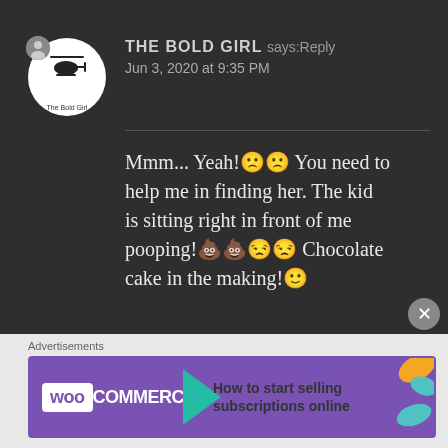[Figure (screenshot): User avatar circle with helicopter logo and text 'The Bold Girl' in white circle, with user icon badge]
THE BOLD GIRL says: Reply
Jun 3, 2020 at 9:35 PM
Mmm... Yeah!🙁🙁 You need to help me in finding her. The kid is sitting right in front of me pooping!💩💩😒😒 Chocolate cake in the making!🙂
★ Liked by 1 person
Advertisements
[Figure (screenshot): WooCommerce advertisement banner: purple background with WooCommerce logo, teal arrow, text 'How to start selling subscriptions online', orange and teal leaf decorations]